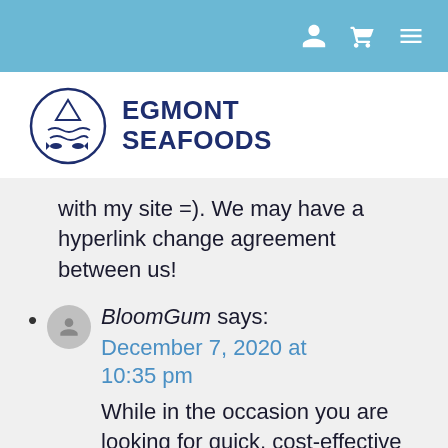Navigation bar with user, cart, and menu icons
[Figure (logo): Egmont Seafoods logo: circular emblem with fish and waves, beside bold text 'EGMONT SEAFOODS']
with my site =). We may have a hyperlink change agreement between us!
BloomGum says: December 7, 2020 at 10:35 pm. While in the occasion you are looking for quick, cost-effective tailor manufactured essays then look no